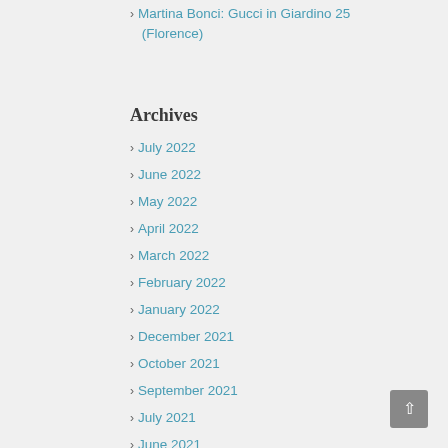Martina Bonci: Gucci in Giardino 25 (Florence)
Archives
July 2022
June 2022
May 2022
April 2022
March 2022
February 2022
January 2022
December 2021
October 2021
September 2021
July 2021
June 2021
May 2021
April 2021
December 2020
November 2020
October 2020